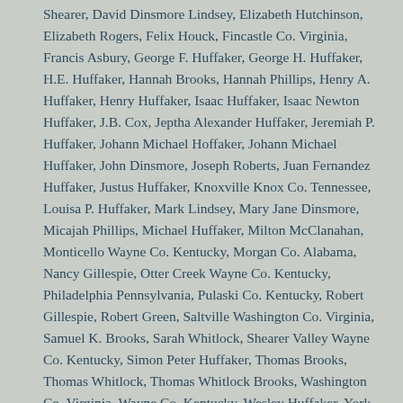Shearer, David Dinsmore Lindsey, Elizabeth Hutchinson, Elizabeth Rogers, Felix Houck, Fincastle Co. Virginia, Francis Asbury, George F. Huffaker, George H. Huffaker, H.E. Huffaker, Hannah Brooks, Hannah Phillips, Henry A. Huffaker, Henry Huffaker, Isaac Huffaker, Isaac Newton Huffaker, J.B. Cox, Jeptha Alexander Huffaker, Jeremiah P. Huffaker, Johann Michael Hoffaker, Johann Michael Huffaker, John Dinsmore, Joseph Roberts, Juan Fernandez Huffaker, Justus Huffaker, Knoxville Knox Co. Tennessee, Louisa P. Huffaker, Mark Lindsey, Mary Jane Dinsmore, Micajah Phillips, Michael Huffaker, Milton McClanahan, Monticello Wayne Co. Kentucky, Morgan Co. Alabama, Nancy Gillespie, Otter Creek Wayne Co. Kentucky, Philadelphia Pennsylvania, Pulaski Co. Kentucky, Robert Gillespie, Robert Green, Saltville Washington Co. Virginia, Samuel K. Brooks, Sarah Whitlock, Shearer Valley Wayne Co. Kentucky, Simon Peter Huffaker, Thomas Brooks, Thomas Whitlock, Thomas Whitlock Brooks, Washington Co. Virginia, Wayne Co. Kentucky, Wesley Huffaker, York Co. Pennsylvania